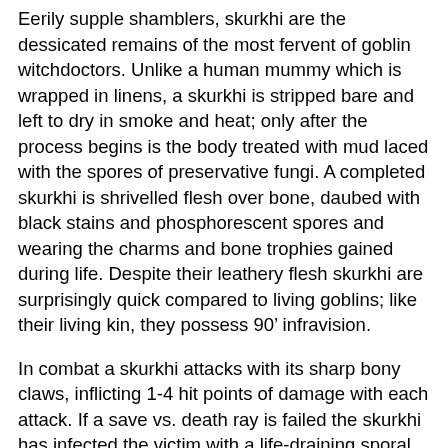Eerily supple shamblers, skurkhi are the dessicated remains of the most fervent of goblin witchdoctors. Unlike a human mummy which is wrapped in linens, a skurkhi is stripped bare and left to dry in smoke and heat; only after the process begins is the body treated with mud laced with the spores of preservative fungi. A completed skurkhi is shrivelled flesh over bone, daubed with black stains and phosphorescent spores and wearing the charms and bone trophies gained during life. Despite their leathery flesh skurkhi are surprisingly quick compared to living goblins; like their living kin, they possess 90’ infravision.
In combat a skurkhi attacks with its sharp bony claws, inflicting 1-4 hit points of damage with each attack. If a save vs. death ray is failed the skurkhi has infected the victim with a life-draining sporal death-rot; 1 point of Strength and 1 point of Constitution is lost for twelve hours, with a 2-in-6 chance of the loss of another point of Strength six hours later. Victims completely drained of Strength or Constitution become zombies under the skurkhi’s control.
A silver or magical weapon is required to harm a skurkhi.